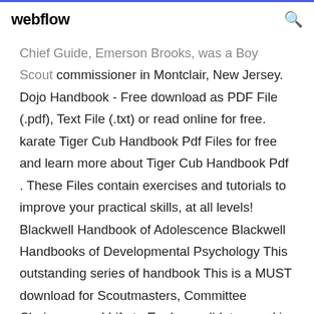webflow
Chief Guide, Emerson Brooks, was a Boy Scout commissioner in Montclair, New Jersey. Dojo Handbook - Free download as PDF File (.pdf), Text File (.txt) or read online for free. karate Tiger Cub Handbook Pdf Files for free and learn more about Tiger Cub Handbook Pdf . These Files contain exercises and tutorials to improve your practical skills, at all levels! Blackwell Handbook of Adolescence Blackwell Handbooks of Developmental Psychology This outstanding series of handbook This is a MUST download for Scoutmasters, Committee Chairman, and Life to Eagle candidates, and is a free and complimentary download made possible by Michael S. Malone, David C. Scott,